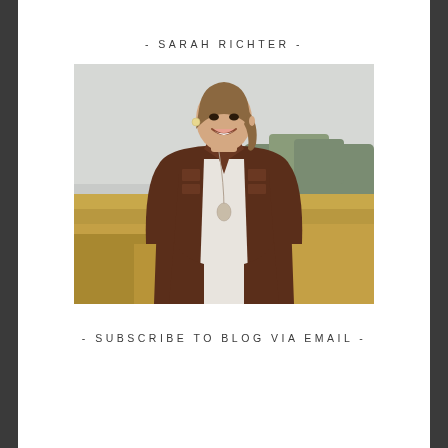- SARAH RICHTER -
[Figure (photo): Portrait photo of Sarah Richter, a smiling woman with long brown hair wearing a brown leather jacket and white top with a long pendant necklace, standing outdoors in a field with dry golden grass and blurred trees in the background.]
- SUBSCRIBE TO BLOG VIA EMAIL -